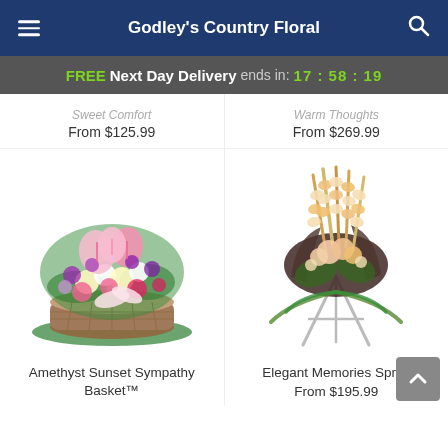Godley's Country Floral
FREE Next Day Delivery ends in: 17:58:19
Sweet Comfort From $125.99
Warm Thoughts From $269.99
[Figure (photo): Amethyst Sunset Sympathy Basket - a large round flower basket arrangement with pink lilies, white carnations, pink alstroemeria, purple flowers and greenery with a pink sheer bow]
[Figure (photo): Elegant Memories Spray - a tall standing spray arrangement on a metal easel featuring peach/ivory gladioli, greenery and tropical leaves]
Amethyst Sunset Sympathy Basket™
Elegant Memories Spray From $195.99